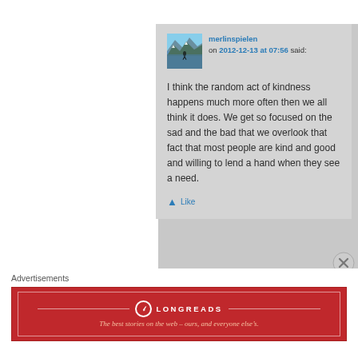[Figure (screenshot): Comment block with avatar (mountain/lake photo), username 'merlinspielen', date '2012-12-13 at 07:56', and comment text.]
merlinspielen on 2012-12-13 at 07:56 said:
I think the random act of kindness happens much more often then we all think it does. We get so focused on the sad and the bad that we overlook that fact that most people are kind and good and willing to lend a hand when they see a need.
Like
Advertisements
[Figure (infographic): Longreads advertisement banner: red background with logo and tagline 'The best stories on the web — ours, and everyone else's.']